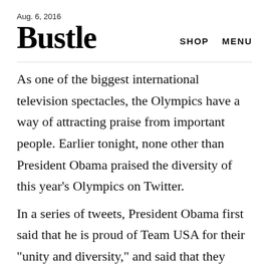Aug. 6, 2016
Bustle
As one of the biggest international television spectacles, the Olympics have a way of attracting praise from important people. Earlier tonight, none other than President Obama praised the diversity of this year's Olympics on Twitter.
In a series of tweets, President Obama first said that he is proud of Team USA for their "unity and diversity," and said that they remind the world why America "sets the gold standard" at the Olympic Games. He followed it up with a tweet about the newly-founded refugee team, who he said proves that "you can succeed no matter where you're from." This